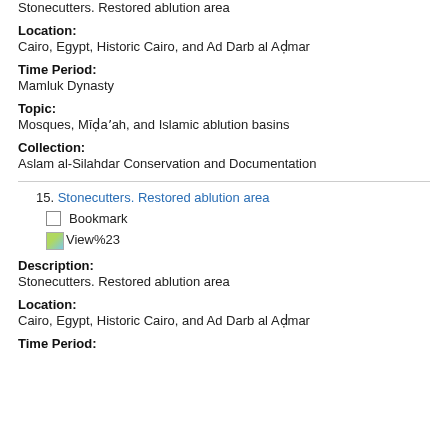Stonecutters. Restored ablution area
Location:
Cairo, Egypt, Historic Cairo, and Ad Darb al Aḥmar
Time Period:
Mamluk Dynasty
Topic:
Mosques, Mīḍaʾah, and Islamic ablution basins
Collection:
Aslam al-Silahdar Conservation and Documentation
15. Stonecutters. Restored ablution area
Bookmark
[Figure (other): View%23 broken image icon link]
Description:
Stonecutters. Restored ablution area
Location:
Cairo, Egypt, Historic Cairo, and Ad Darb al Aḥmar
Time Period: